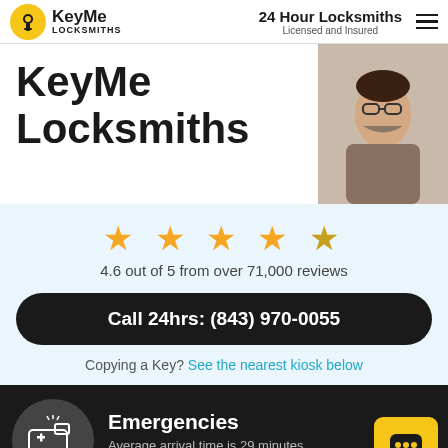KeyMe Locksmiths | 24 Hour Locksmiths Licensed and Insured
KeyMe Locksmiths
[Figure (photo): Man with glasses and beard working, partial view on right side of hero]
[Figure (other): 4.6 out of 5 stars rating display with 4 full stars and 1 partial star]
4.6 out of 5 from over 71,000 reviews
Call 24hrs: (843) 970-0055
Copying a Key? See the nearest kiosk below
Emergencies
Average arrival time is 29 minutes
Call now: (843) 970-0055